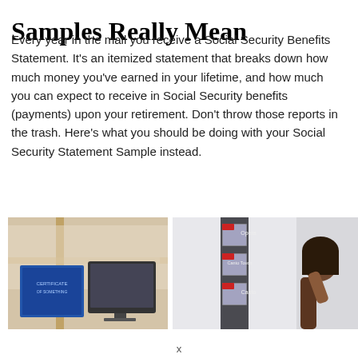Samples Really Mean
Every year in the mail you receive a Social Security Benefits Statement. It's an itemized statement that breaks down how much money you've earned in your lifetime, and how much you can expect to receive in Social Security benefits (payments) upon your retirement. Don't throw those reports in the trash. Here's what you should be doing with your Social Security Statement Sample instead.
[Figure (photo): Office or bank setting showing framed certificates and computer monitors on a desk, with wooden window frame visible in background.]
[Figure (photo): A wall-mounted literature rack or brochure holder with labeled slots (Opera, Canto Touch, Canto), and a person with dark hair visible on the right side.]